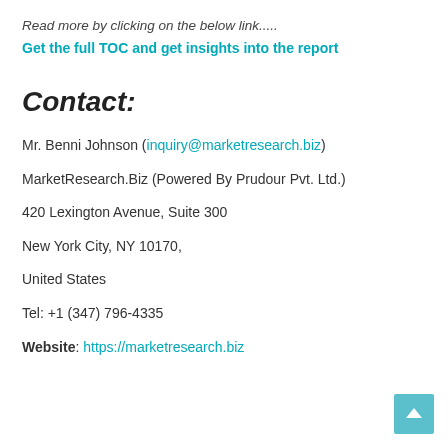Read more by clicking on the below link.....
Get the full TOC and get insights into the report
Contact:
Mr. Benni Johnson (inquiry@marketresearch.biz)
MarketResearch.Biz (Powered By Prudour Pvt. Ltd.)
420 Lexington Avenue, Suite 300
New York City, NY 10170,
United States
Tel: +1 (347) 796-4335
Website: https://marketresearch.biz